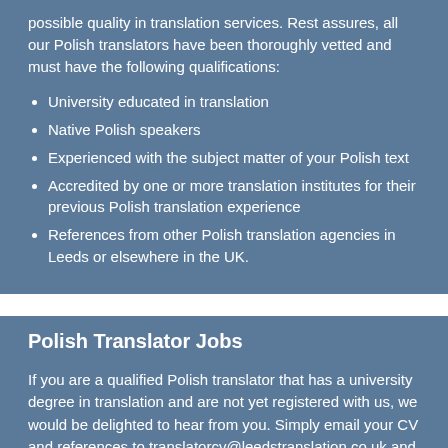possible quality in translation services. Rest assures, all our Polish translators have been thoroughly vetted and must have the following qualifications:
University educated in translation
Native Polish speakers
Experienced with the subject matter of your Polish text
Accredited by one or more translation institutes for their previous Polish translation experience
References from other Polish translation agencies in Leeds or elsewhere in the UK.
Polish Translator Jobs
If you are a qualified Polish translator that has a university degree in translation and are not yet registered with us, we would be delighted to hear from you. Simply email your CV and references to translatorcv@leedstranslation.co.uk and our HR